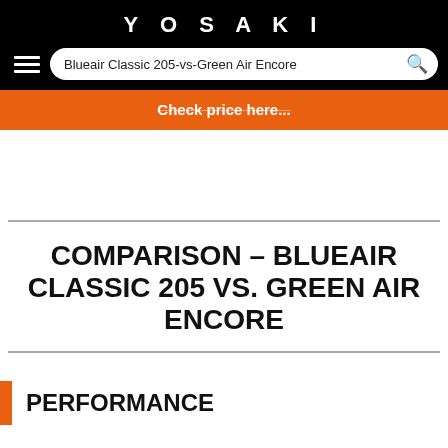YOSAKI
Blueair Classic 205-vs-Green Air Encore
Check price here...
COMPARISON – BLUEAIR CLASSIC 205 VS. GREEN AIR ENCORE
PERFORMANCE